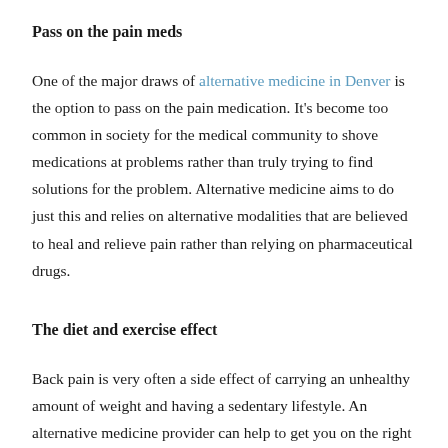Pass on the pain meds
One of the major draws of alternative medicine in Denver is the option to pass on the pain medication. It's become too common in society for the medical community to shove medications at problems rather than truly trying to find solutions for the problem. Alternative medicine aims to do just this and relies on alternative modalities that are believed to heal and relieve pain rather than relying on pharmaceutical drugs.
The diet and exercise effect
Back pain is very often a side effect of carrying an unhealthy amount of weight and having a sedentary lifestyle. An alternative medicine provider can help to get you on the right track engaging in physical activity and eating in a more healthy way that supports total health and well being. After you shed a